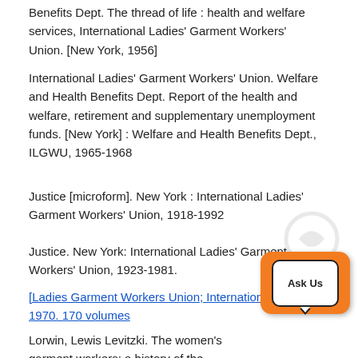Benefits Dept. The thread of life : health and welfare services, International Ladies' Garment Workers' Union. [New York, 1956]
International Ladies' Garment Workers' Union. Welfare and Health Benefits Dept. Report of the health and welfare, retirement and supplementary unemployment funds. [New York] : Welfare and Health Benefits Dept., ILGWU, 1965-1968
Justice [microform]. New York : International Ladies' Garment Workers' Union, 1918-1992
Justice. New York: International Ladies' Garment Workers' Union, 1923-1981.
[Ladies Garment Workers Union; International], 1936-1970. 170 volumes
Lorwin, Lewis Levitzki. The women's garment workers; a history of the